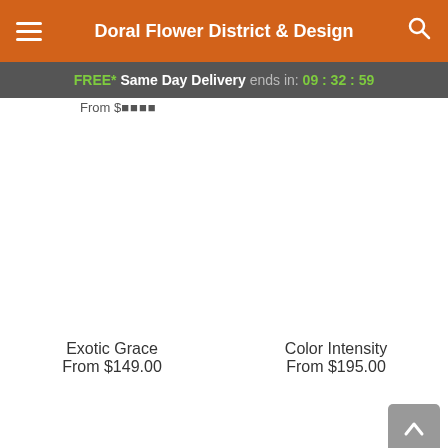Doral Flower District & Design
FREE* Same Day Delivery ends in: 09 : 32 : 59
From $...
[Figure (photo): Product image area for Exotic Grace flower arrangement (white/blank)]
Exotic Grace
From $149.00
[Figure (photo): Product image area for Color Intensity flower arrangement (white/blank)]
Color Intensity
From $195.00